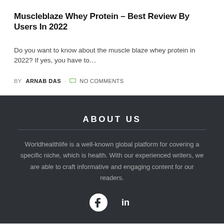Muscleblaze Whey Protein – Best Review By Users In 2022
Do you want to know about the muscle blaze whey protein in 2022? If yes, you have to...
BY ARNAB DAS · NO COMMENTS
ABOUT US
Worldhealthlife is a well-known global platform for covering a specific niche, which is health. With our experienced writers, we are able to craft informative and engaging content for our readers.
[Figure (other): Social media icons: Facebook and LinkedIn]